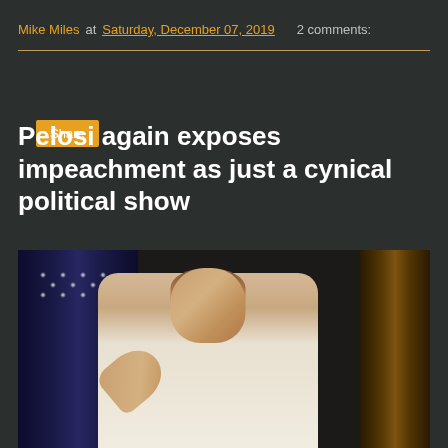Mike Miles at Saturday, December 07, 2019  2 comments:
Share
Pelosi again exposes impeachment as just a cynical political show
[Figure (photo): Photo of Nancy Pelosi pointing with her finger, wearing a white jacket and blue bead necklace, with American flags in the background]